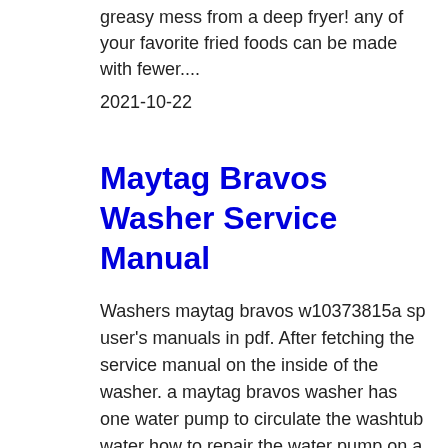greasy mess from a deep fryer! any of your favorite fried foods can be made with fewer....
2021-10-22
Maytag Bravos Washer Service Manual
Washers maytag bravos w10373815a sp user's manuals in pdf. After fetching the service manual on the inside of the washer. a maytag bravos washer has one water pump to circulate the washtub water how to repair the water pump on a front loading whirlpool